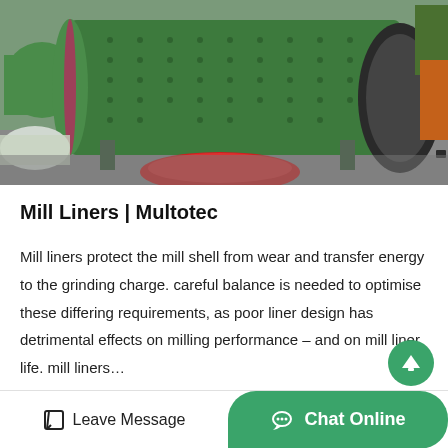[Figure (photo): Large green cylindrical ball mill with bolted shell and large gear ring drive, photographed outdoors on a factory or mining site. Red components visible in foreground and orange machinery in background.]
Mill Liners | Multotec
Mill liners protect the mill shell from wear and transfer energy to the grinding charge. careful balance is needed to optimise these differing requirements, as poor liner design has detrimental effects on milling performance – and on mill liner life. mill liners…
Leave Message  |  Chat Online